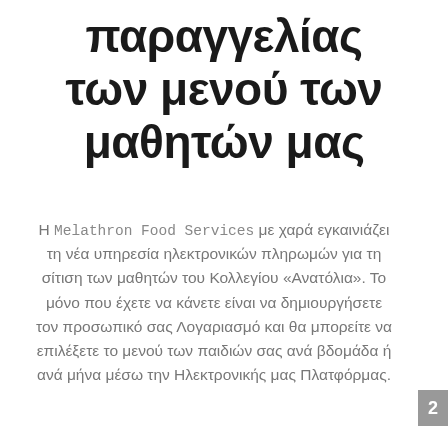παραγγελίας των μενού των μαθητών μας
Η Melathron Food Services με χαρά εγκαινιάζει τη νέα υπηρεσία ηλεκτρονικών πληρωμών για τη σίτιση των μαθητών του Κολλεγίου «Ανατόλια». Το μόνο που έχετε να κάνετε είναι να δημιουργήσετε τον προσωπικό σας Λογαριασμό και θα μπορείτε να επιλέξετε το μενού των παιδιών σας ανά βδομάδα ή ανά μήνα μέσω την Ηλεκτρονικής μας Πλατφόρμας.
2